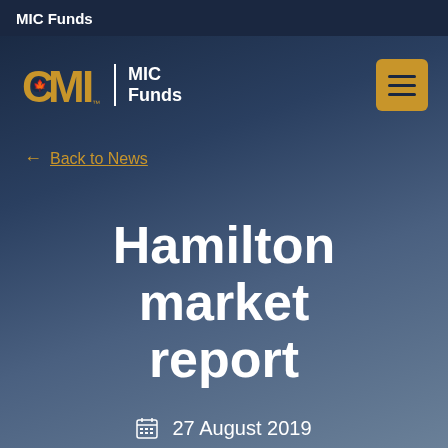MIC Funds
[Figure (logo): CMI MIC Funds logo with maple leaf icon and hamburger menu button]
← Back to News
Hamilton market report
27 August 2019